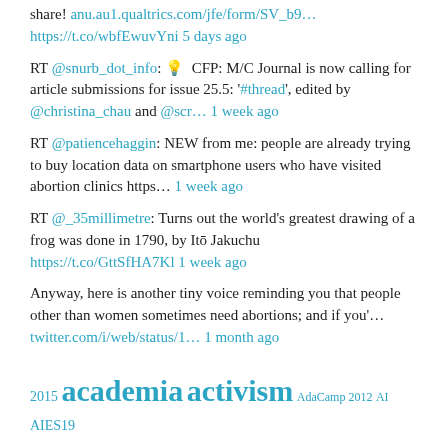share! anu.au1.qualtrics.com/jfe/form/SV_b9… https://t.co/wbfEwuvYni 5 days ago
RT @snurb_dot_info: 💡 CFP: M/C Journal is now calling for article submissions for issue 25.5: '#thread', edited by @christina_chau and @scr… 1 week ago
RT @patiencehaggin: NEW from me: people are already trying to buy location data on smartphone users who have visited abortion clinics https… 1 week ago
RT @_35millimetre: Turns out the world's greatest drawing of a frog was done in 1790, by Itō Jakuchu https://t.co/GttSfHA7Kl 1 week ago
Anyway, here is another tiny voice reminding you that people other than women sometimes need abortions; and if you'… twitter.com/i/web/status/1… 1 month ago
2015 academia activism AdaCamp 2012 AI AIES19